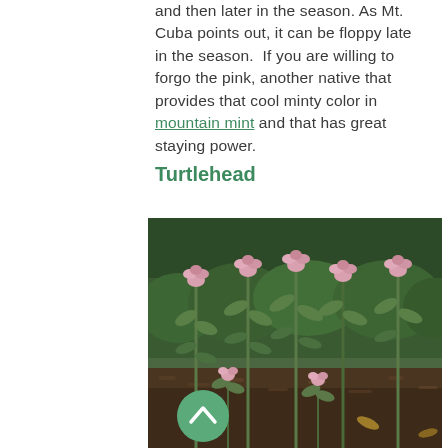and then later in the season. As Mt. Cuba points out, it can be floppy late in the season.  If you are willing to forgo the pink, another native that provides that cool minty color in mountain mint and that has great staying power.
Turtlehead
[Figure (photo): Outdoor garden photo showing turtlehead plants (Chelone) with pink flowers growing in a garden bed with dark mulch soil, surrounded by green foliage and shrubs in the background. A green circular back-to-top button with an upward chevron arrow is overlaid in the lower left of the image.]